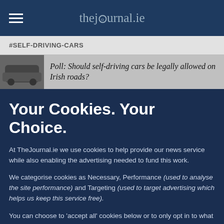thejournal.ie
#SELF-DRIVING-CARS
Poll: Should self-driving cars be legally allowed on Irish roads?
Your Cookies. Your Choice.
At TheJournal.ie we use cookies to help provide our news service while also enabling the advertising needed to fund this work.
We categorise cookies as Necessary, Performance (used to analyse the site performance) and Targeting (used to target advertising which helps us keep this service free).
You can choose to 'accept all' cookies below or to only opt in to what you are happy to accept using 'manage cookies'. You can also change your cookie settings at any time...